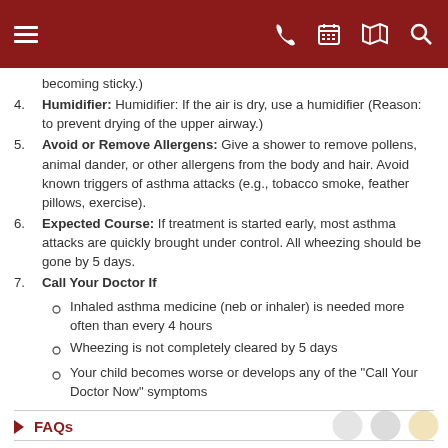[Navigation bar with menu, phone, calendar, map, search icons]
becoming sticky.)
4. Humidifier: Humidifier: If the air is dry, use a humidifier (Reason: to prevent drying of the upper airway.)
5. Avoid or Remove Allergens: Give a shower to remove pollens, animal dander, or other allergens from the body and hair. Avoid known triggers of asthma attacks (e.g., tobacco smoke, feather pillows, exercise).
6. Expected Course: If treatment is started early, most asthma attacks are quickly brought under control. All wheezing should be gone by 5 days.
7. Call Your Doctor If
Inhaled asthma medicine (neb or inhaler) is needed more often than every 4 hours
Wheezing is not completely cleared by 5 days
Your child becomes worse or develops any of the "Call Your Doctor Now" symptoms
FAQs
Patient Forms